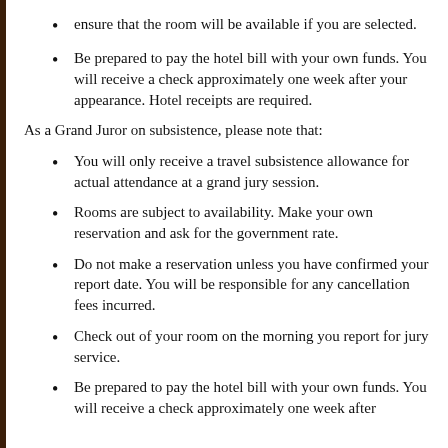ensure that the room will be available if you are selected.
Be prepared to pay the hotel bill with your own funds. You will receive a check approximately one week after your appearance. Hotel receipts are required.
As a Grand Juror on subsistence, please note that:
You will only receive a travel subsistence allowance for actual attendance at a grand jury session.
Rooms are subject to availability. Make your own reservation and ask for the government rate.
Do not make a reservation unless you have confirmed your report date. You will be responsible for any cancellation fees incurred.
Check out of your room on the morning you report for jury service.
Be prepared to pay the hotel bill with your own funds. You will receive a check approximately one week after